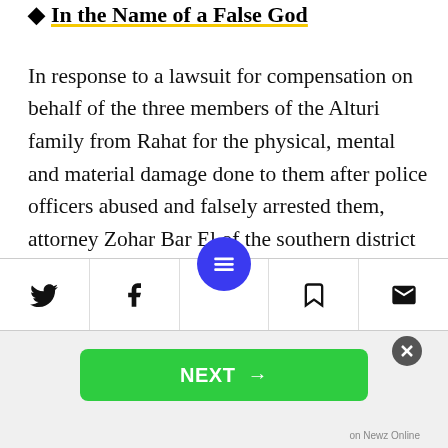In the Name of a False God
In response to a lawsuit for compensation on behalf of the three members of the Alturi family from Rahat for the physical, mental and material damage done to them after police officers abused and falsely arrested them, attorney Zohar Bar El of the southern district of the State Prosecutor's Office wrote: “The claimed damage, which is denied, was caused, if it [even occurred] at all, on account of the plaintiff and represents gross negligence
[Figure (screenshot): Bottom navigation toolbar with Twitter, Facebook, menu (blue circle), bookmark, and mail icons, and a NEXT button banner below]